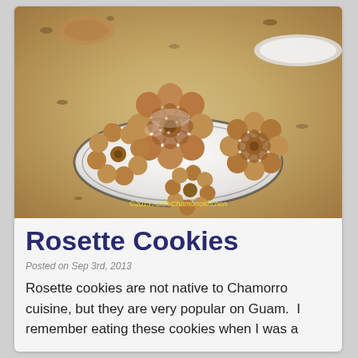[Figure (photo): Photograph of rosette cookies (fried dough snowflake/flower-shaped cookies) stacked on a plate on a granite countertop, with a yellow watermark '©2013 AudieChamorroKitchen']
Rosette Cookies
Posted on Sep 3rd, 2013
Rosette cookies are not native to Chamorro cuisine, but they are very popular on Guam.  I remember eating these cookies when I was a